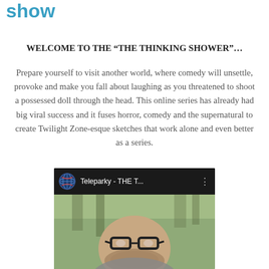show
WELCOME TO THE “THE THINKING SHOWER”…
Prepare yourself to visit another world, where comedy will unsettle, provoke and make you fall about laughing as you threatened to shoot a possessed doll through the head. This online series has already had big viral success and it fuses horror, comedy and the supernatural to create Twilight Zone-esque sketches that work alone and even better as a series.
[Figure (screenshot): YouTube video embed thumbnail showing a man with glasses and a beard, with YouTube play button overlay. Video title reads 'Teleparky - THE T...' with a globe logo in the top bar.]